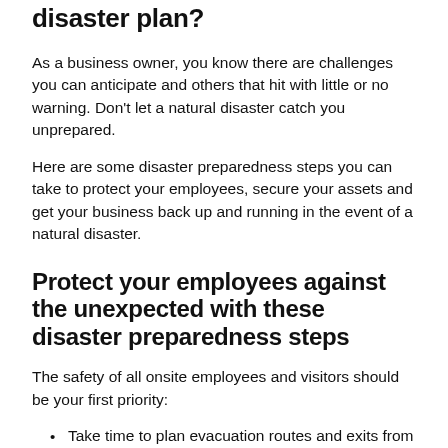disaster plan?
As a business owner, you know there are challenges you can anticipate and others that hit with little or no warning. Don't let a natural disaster catch you unprepared.
Here are some disaster preparedness steps you can take to protect your employees, secure your assets and get your business back up and running in the event of a natural disaster.
Protect your employees against the unexpected with these disaster preparedness steps
The safety of all onsite employees and visitors should be your first priority:
Take time to plan evacuation routes and exits from your facility and mark them.